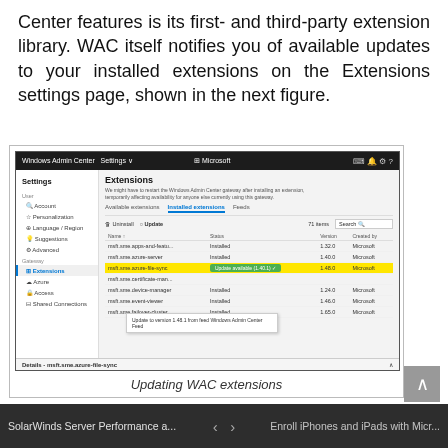Center features is its first- and third-party extension library. WAC itself notifies you of available updates to your installed extensions on the Extensions settings page, shown in the next figure.
[Figure (screenshot): Windows Admin Center Settings > Extensions page showing installed extensions with one entry (msft.sme.azure-file-sync) highlighted in yellow with an 'Update available (1.40.1)' button, and a tooltip showing 'Update to version 1.48.1 from feed Windows Admin Center Feed'. A Details bar at bottom shows 'Details - msft.sme.azure-file-sync'.]
Updating WAC extensions
SolarWinds Server Performance a...    <  >    Enroll iPhones and iPads with Micr...